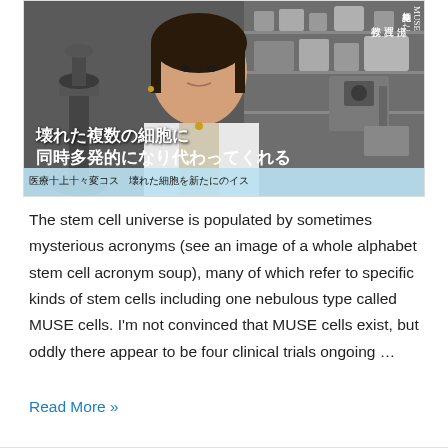[Figure (photo): A woman (researcher/professor) in a white lab coat is shown in a laboratory setting with microscopes and equipment. Japanese text overlays include subtitle '壊れた複数の細胞に 同時多発的になり代わってくれる', a name tag '出澤 真理 教授', right-side vertical text 'MUSE細胞発見した', and a blue ticker bar at the bottom with Japanese text.]
The stem cell universe is populated by sometimes mysterious acronyms (see an image of a whole alphabet stem cell acronym soup), many of which refer to specific kinds of stem cells including one nebulous type called MUSE cells. I'm not convinced that MUSE cells exist, but oddly there appear to be four clinical trials ongoing …
Read More »